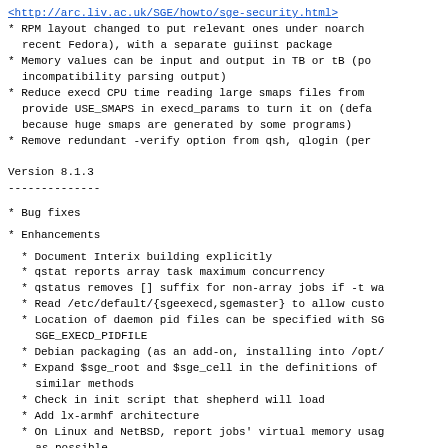<http://arc.liv.ac.uk/SGE/howto/sge-security.html>
* RPM layout changed to put relevant ones under noarch (recent Fedora), with a separate guiinst package
* Memory values can be input and output in TB or tB (potential incompatibility parsing output)
* Reduce execd CPU time reading large smaps files from provide USE_SMAPS in execd_params to turn it on (default off because huge smaps are generated by some programs)
* Remove redundant -verify option from qsh, qlogin (per...)
Version 8.1.3
* Bug fixes
* Enhancements
* Document Interix building explicitly
* qstat reports array task maximum concurrency
* qstatus removes [] suffix for non-array jobs if -t wa...
* Read /etc/default/{sgeexecd,sgemaster} to allow custo...
* Location of daemon pid files can be specified with SGE_EXECD_PIDFILE
* Debian packaging (as an add-on, installing into /opt/...
* Expand $sge_root and $sge_cell in the definitions of similar methods
* Check in init script that shepherd will load
* Add lx-armhf architecture
* On Linux and NetBSD, report jobs' virtual memory usage as possible